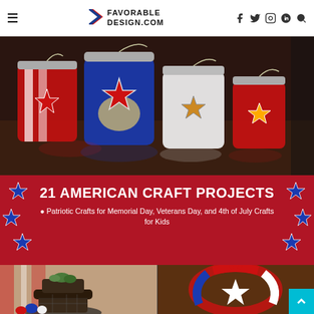FAVORABLE DESIGN.COM
[Figure (photo): Patriotic mason jar lanterns painted red, white, and blue with star cutouts, lit with candles inside, on a wooden surface]
21 AMERICAN CRAFT PROJECTS
Patriotic Crafts for Memorial Day, Veterans Day, and 4th of July Crafts for Kids
[Figure (photo): Left: brown tiered pot with succulents and red white blue pine cones. Right: Patriotic wreath with red, white, blue ribbon and white star on a door.]